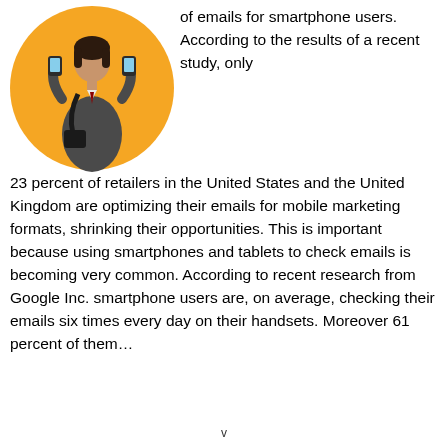[Figure (illustration): Illustration of a woman in business attire holding a smartphone, depicted in a circular orange/yellow background]
of emails for smartphone users. According to the results of a recent study, only 23 percent of retailers in the United States and the United Kingdom are optimizing their emails for mobile marketing formats, shrinking their opportunities. This is important because using smartphones and tablets to check emails is becoming very common. According to recent research from Google Inc. smartphone users are, on average, checking their emails six times every day on their handsets. Moreover 61 percent of them…
v